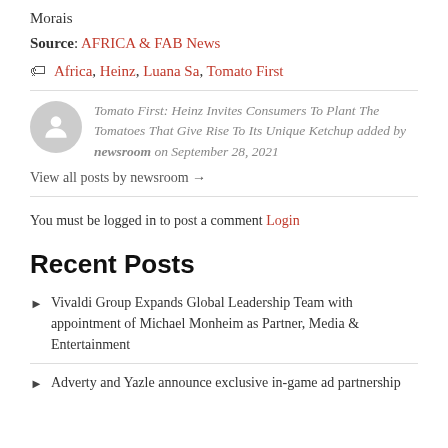Morais
Source: AFRICA & FAB News
Africa, Heinz, Luana Sa, Tomato First
Tomato First: Heinz Invites Consumers To Plant The Tomatoes That Give Rise To Its Unique Ketchup added by newsroom on September 28, 2021
View all posts by newsroom →
You must be logged in to post a comment Login
Recent Posts
Vivaldi Group Expands Global Leadership Team with appointment of Michael Monheim as Partner, Media & Entertainment
Adverty and Yazle announce exclusive in-game ad partnership